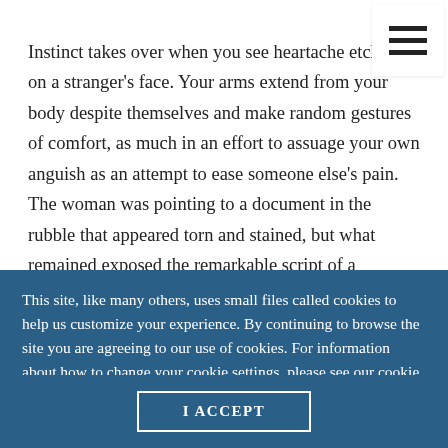Instinct takes over when you see heartache etched on a stranger's face. Your arms extend from your body despite themselves and make random gestures of comfort, as much in an effort to assuage your own anguish as an attempt to ease someone else's pain. The woman was pointing to a document in the rubble that appeared torn and stained, but what remained exposed the remarkable script of a disciplined hand. Numbers and letters, columns and
This site, like many others, uses small files called cookies to help us customize your experience. By continuing to browse the site you are agreeing to our use of cookies. For information about how to change your cookie settings, please see our cookie policy.
I ACCEPT